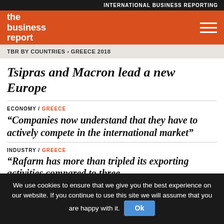INTERNATIONAL BUSINESS REPORTING
the business report
TBR BY COUNTRIES › GREECE 2018
Tsipras and Macron lead a new Europe
ECONOMY / GREECE
“Companies now understand that they have to actively compete in the international market”
INDUSTRY / GREECE
“Rafarm has more than tripled its exporting activities compared to three
We use cookies to ensure that we give you the best experience on our website. If you continue to use this site we will assume that you are happy with it.